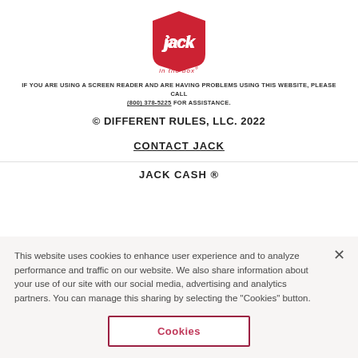[Figure (logo): Jack in the Box logo — red hexagonal shape with 'Jack' in white script and 'in the box' text below in red]
IF YOU ARE USING A SCREEN READER AND ARE HAVING PROBLEMS USING THIS WEBSITE, PLEASE CALL (800) 378-5225 FOR ASSISTANCE.
© DIFFERENT RULES, LLC. 2022
CONTACT JACK
JACK CASH ®
This website uses cookies to enhance user experience and to analyze performance and traffic on our website. We also share information about your use of our site with our social media, advertising and analytics partners. You can manage this sharing by selecting the "Cookies" button.
Cookies